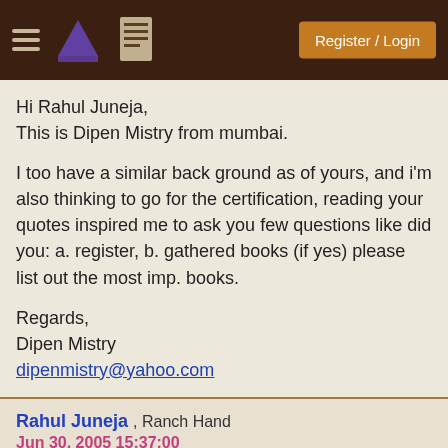Register / Login
Hi Rahul Juneja,
This is Dipen Mistry from mumbai.

I too have a similar back ground as of yours, and i'm also thinking to go for the certification, reading your quotes inspired me to ask you few questions like did you: a. register, b. gathered books (if yes) please list out the most imp. books.

Regards,
Dipen Mistry
dipenmistry@yahoo.com
Rahul Juneja , Ranch Hand
Jun 30, 2005 15:37:00

Dipen,